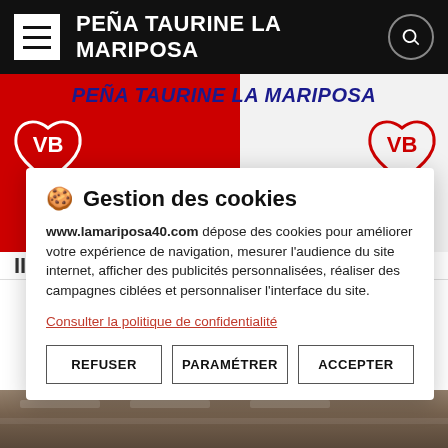PEÑA TAURINE LA MARIPOSA
[Figure (illustration): Banner for Peña Taurine La Mariposa with red and white background, VB logos, and yellow/blue Vieux-Boucau text]
Gestion des cookies
www.lamariposa40.com dépose des cookies pour améliorer votre expérience de navigation, mesurer l'audience du site internet, afficher des publicités personnalisées, réaliser des campagnes ciblées et personnaliser l'interface du site.
Consulter la politique de confidentialité
REFUSER  PARAMÉTRER  ACCEPTER
[Figure (photo): Crowd of people seated at tables in a hall]